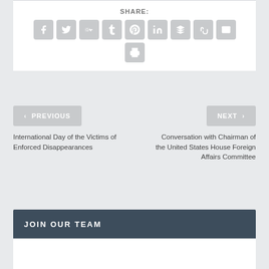SHARE:
[Figure (infographic): Share buttons row: Facebook, Twitter, Google+, Tumblr, Pinterest, LinkedIn, Buffer, StumbleUpon, Email icons; second row: Print icon]
< PREVIOUS
NEXT >
International Day of the Victims of Enforced Disappearances
Conversation with Chairman of the United States House Foreign Affairs Committee
JOIN OUR TEAM